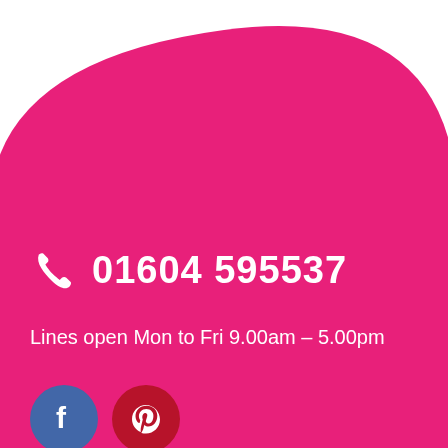[Figure (illustration): Large pink/magenta blob shape filling most of the page from top, white background at top corners]
01604 595537
Lines open Mon to Fri 9.00am – 5.00pm
[Figure (logo): Facebook logo circle (blue) and Pinterest logo circle (dark red) social media icons]